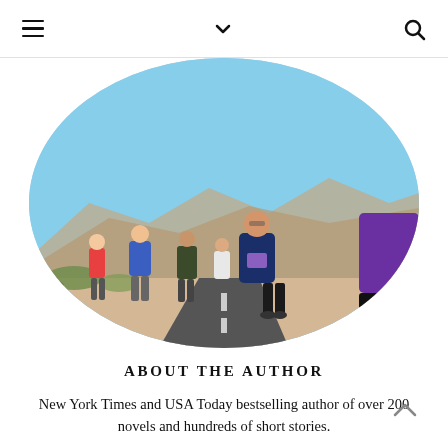≡  ∨  🔍
[Figure (photo): Oval-cropped photo of several runners on a road in a desert landscape with mountains in the background. The central figure is a middle-aged man in a dark blue jacket and black pants wearing a race bib. Other runners are visible behind and beside him.]
ABOUT THE AUTHOR
New York Times and USA Today bestselling author of over 200 novels and hundreds of short stories.